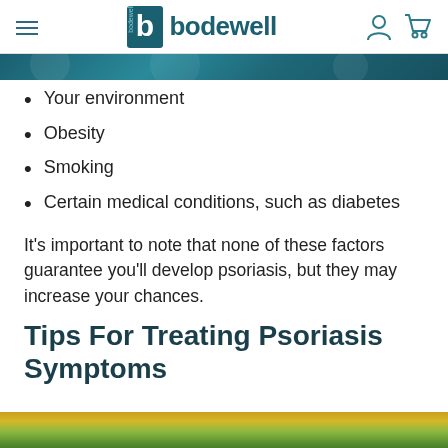bodewell navigation header
Your environment
Obesity
Smoking
Certain medical conditions, such as diabetes
It’s important to note that none of these factors guarantee you’ll develop psoriasis, but they may increase your chances.
Tips For Treating Psoriasis Symptoms
[Figure (photo): Bottom strip showing a photo, partially visible at the bottom of the page]